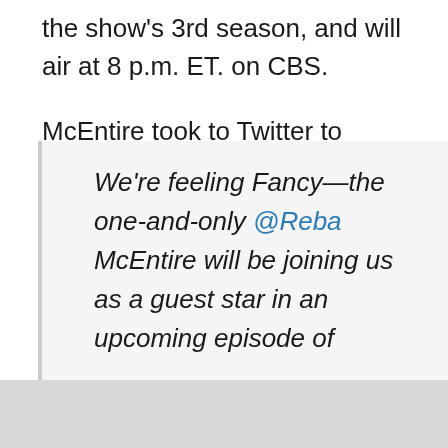the show's 3rd season, and will air at 8 p.m. ET. on CBS.
McEntire took to Twitter to confirm her appearance on the episode by retweeting an announcement from the show's official account:
We're feeling Fancy—the one-and-only @Reba McEntire will be joining us as a guest star in an upcoming episode of